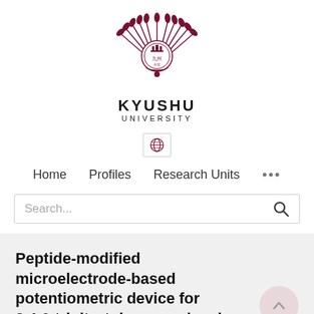[Figure (logo): Kyushu University logo — stylized sun/phoenix emblem in dark maroon]
KYUSHU
UNIVERSITY
[Figure (other): Globe icon in a bordered box — navigation/language selector]
Home   Profiles   Research Units   ...
Search...
Peptide-modified microelectrode-based potentiometric device for 2,4,6-trinitrotoluene molecule detection